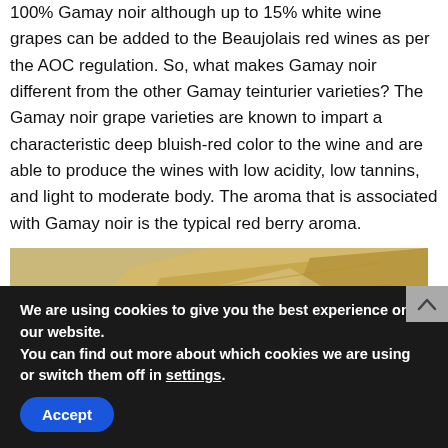Most of the specialty red wines from Beaujolais are 100% Gamay noir although up to 15% white wine grapes can be added to the Beaujolais red wines as per the AOC regulation. So, what makes Gamay noir different from the other Gamay teinturier varieties? The Gamay noir grape varieties are known to impart a characteristic deep bluish-red color to the wine and are able to produce the wines with low acidity, low tannins, and light to moderate body. The aroma that is associated with Gamay noir is the typical red berry aroma.
[Figure (photo): A landscape photo showing a hillside with dry golden terrain, some evergreen trees (likely pines) on the left, and rocky/sandy slopes on the right under daylight.]
We are using cookies to give you the best experience on our website.
You can find out more about which cookies we are using or switch them off in settings.